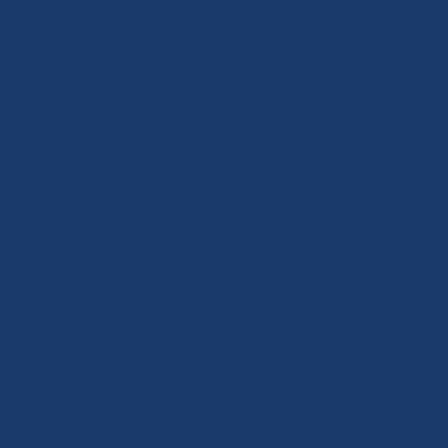ful zed because avgas isn't taxed (enough?). D'oh!
[Figure (photo): Small portrait photo of a person, partially visible at bottom of page]